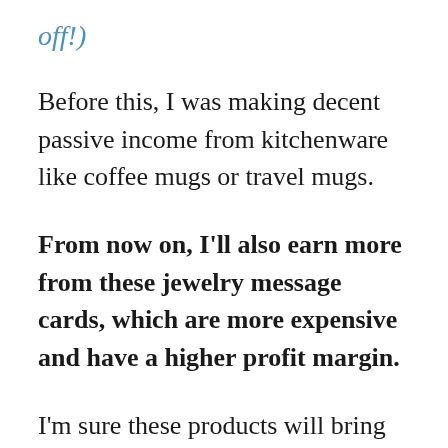off!)
Before this, I was making decent passive income from kitchenware like coffee mugs or travel mugs.
From now on, I'll also earn more from these jewelry message cards, which are more expensive and have a higher profit margin.
I'm sure these products will bring in more passive income for me for many